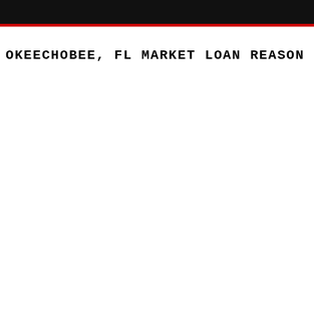OKEECHOBEE, FL MARKET LOAN REASON